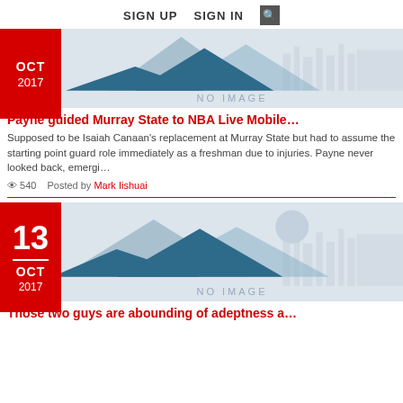SIGN UP  SIGN IN  🔍
[Figure (illustration): No image placeholder with mountain silhouette graphic, date badge OCT 2017 in red]
Payne guided Murray State to NBA Live Mobile…
Supposed to be Isaiah Canaan's replacement at Murray State but had to assume the starting point guard role immediately as a freshman due to injuries. Payne never looked back, emergi…
👁 540   Posted by Mark Iishuai
[Figure (illustration): No image placeholder with mountain silhouette graphic, date badge 13 OCT 2017 in red]
Those two guys are abounding of adeptness a…